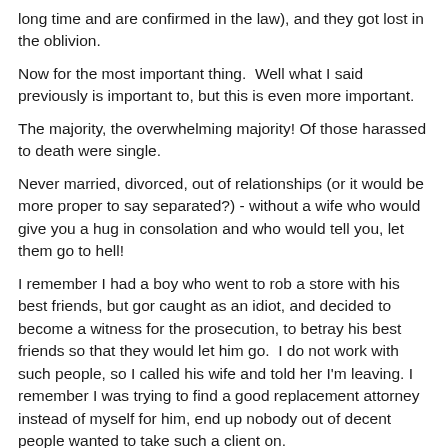long time and are confirmed in the law), and they got lost in the oblivion.
Now for the most important thing.  Well what I said previously is important to, but this is even more important.
The majority, the overwhelming majority! Of those harassed to death were single.
Never married, divorced, out of relationships (or it would be more proper to say separated?) - without a wife who would give you a hug in consolation and who would tell you, let them go to hell!
I remember I had a boy who went to rob a store with his best friends, but gor caught as an idiot, and decided to become a witness for the prosecution, to betray his best friends so that they would let him go.  I do not work with such people, so I called his wife and told her I'm leaving. I remember I was trying to find a good replacement attorney instead of myself for him, end up nobody out of decent people wanted to take such a client on.